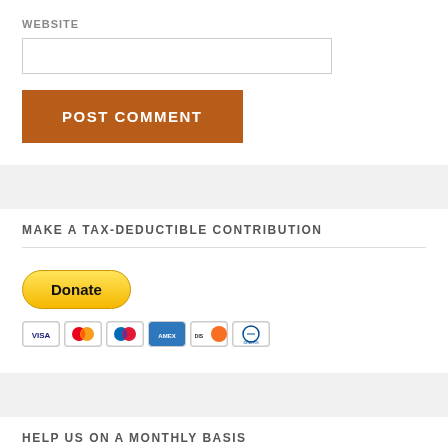WEBSITE
POST COMMENT
MAKE A TAX-DEDUCTIBLE CONTRIBUTION
[Figure (other): PayPal Donate button with payment card icons (Visa, Mastercard, Maestro, American Express, Discover, Diners Club)]
HELP US ON A MONTHLY BASIS